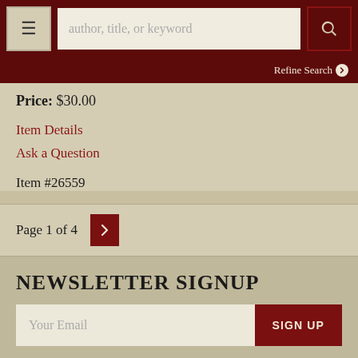author, title, or keyword | Refine Search
Price: $30.00
Item Details
Ask a Question
Item #26559
Page 1 of 4
Newsletter Signup
Your Email